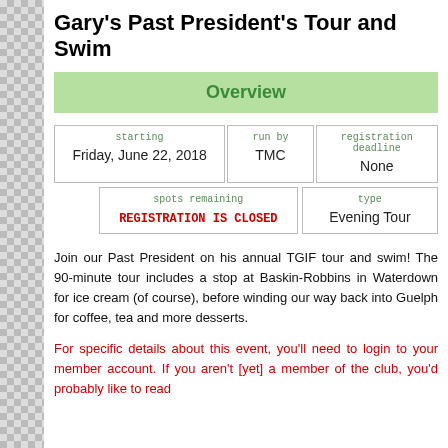Gary's Past President's Tour and Swim
Overview
| starting | run by | registration deadline |
| --- | --- | --- |
| Friday, June 22, 2018 | TMC | None |
| spots remaining | type |
| --- | --- |
| REGISTRATION IS CLOSED | Evening Tour |
Join our Past President on his annual TGIF tour and swim! The 90-minute tour includes a stop at Baskin-Robbins in Waterdown for ice cream (of course), before winding our way back into Guelph for coffee, tea and more desserts.
For specific details about this event, you'll need to login to your member account. If you aren't [yet] a member of the club, you'd probably like to read